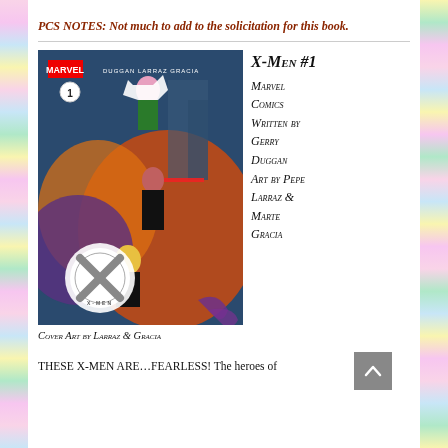PCS NOTES: Not much to add to the solicitation for this book.
[Figure (illustration): Comic book cover for X-Men #1 showing Marvel superheroes including Wolverine, Rogue, and Cyclops in action poses against a fiery background with the X-Men logo.]
Cover Art by Larraz & Gracia
X-Men #1
Marvel Comics
Written by Gerry Duggan
Art by Pepe Larraz & Marte Gracia
THESE X-MEN ARE…FEARLESS! The heroes of